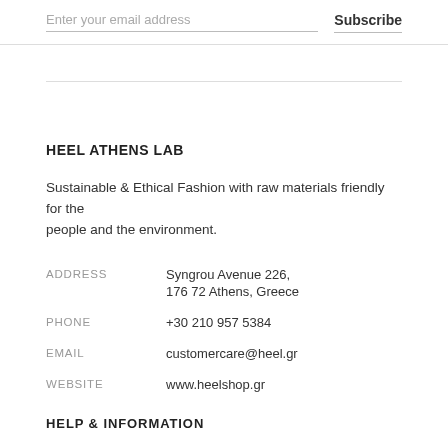Enter your email address
Subscribe
HEEL ATHENS LAB
Sustainable & Ethical Fashion with raw materials friendly for the people and the environment.
|  |  |
| --- | --- |
| ADDRESS | Syngrou Avenue 226,
176 72 Athens, Greece |
| PHONE | +30 210 957 5384 |
| EMAIL | customercare@heel.gr |
| WEBSITE | www.heelshop.gr |
HELP & INFORMATION